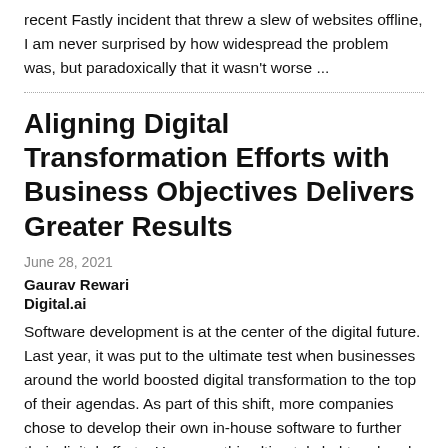recent Fastly incident that threw a slew of websites offline, I am never surprised by how widespread the problem was, but paradoxically that it wasn't worse ...
Aligning Digital Transformation Efforts with Business Objectives Delivers Greater Results
June 28, 2021
Gaurav Rewari
Digital.ai
Software development is at the center of the digital future. Last year, it was put to the ultimate test when businesses around the world boosted digital transformation to the top of their agendas. As part of this shift, more companies chose to develop their own in-house software to further their digital efforts. However, this ultimately led to a break down in systems as these solutions were not developed with the wider business objectives in mind and simply were not successful.